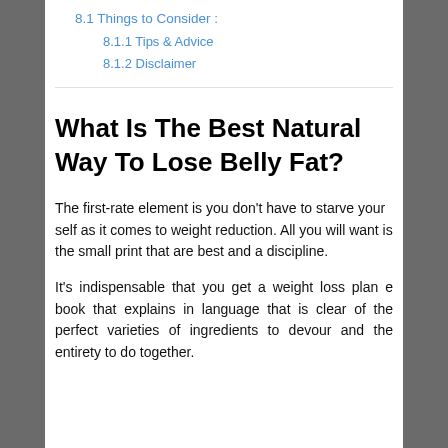8.1 Things to Consider :
8.1.1 Tips & Advice
8.1.2 Disclaimer
What Is The Best Natural Way To Lose Belly Fat?
The first-rate element is you don't have to starve your self as it comes to weight reduction. All you will want is the small print that are best and a discipline.
It's indispensable that you get a weight loss plan e book that explains in language that is clear of the perfect varieties of ingredients to devour and the entirety to do together.